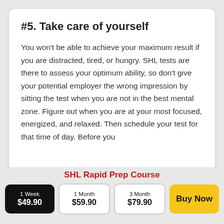#5. Take care of yourself
You won’t be able to achieve your maximum result if you are distracted, tired, or hungry. SHL tests are there to assess your optimum ability, so don’t give your potential employer the wrong impression by sitting the test when you are not in the best mental zone. Figure out when you are at your most focused, energized, and relaxed. Then schedule your test for that time of day. Before you
SHL Rapid Prep Course
| 1 Week | 1 Month | 3 Month | Buy Now |
| --- | --- | --- | --- |
| $49.90 | $59.90 | $79.90 |  |